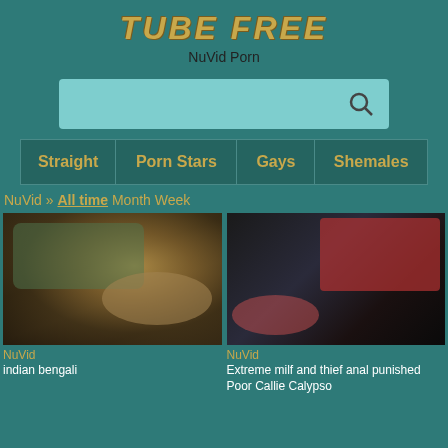TUBE FREE
NuVid Porn
[Figure (screenshot): Search bar with teal/cyan background and search icon on the right]
Straight   Porn Stars   Gays   Shemales
NuVid » All time  Month  Week
[Figure (photo): Video thumbnail showing a person lying down]
NuVid
indian bengali
[Figure (photo): Video thumbnail showing a woman in red bikini on dark background]
NuVid
Extreme milf and thief anal punished Poor Callie Calypso